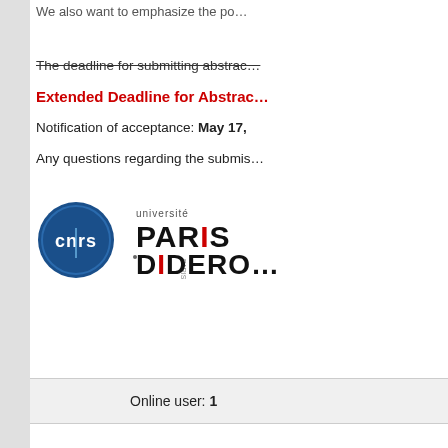We also want to emphasize the po…
The deadline for submitting abstrac… (strikethrough)
Extended Deadline for Abstrac…
Notification of acceptance: May 17,…
Any questions regarding the submis…
[Figure (logo): CNRS and Université Paris Diderot logos side by side]
Online user: 1